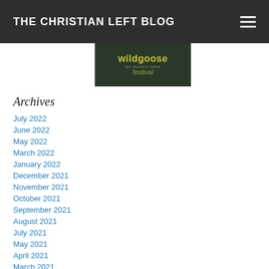THE CHRISTIAN LEFT BLOG
[Figure (illustration): Wildgoose Festival banner/logo — dark green background with 'wildgoose' in yellow-green text and 'festival' in olive italic text, with small subtitle 'two thousand twelve']
Archives
July 2022
June 2022
May 2022
March 2022
January 2022
December 2021
November 2021
October 2021
September 2021
August 2021
July 2021
May 2021
April 2021
March 2021